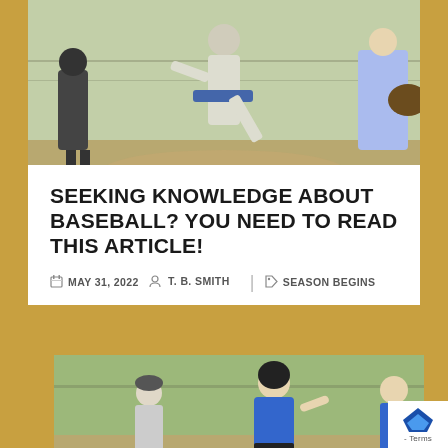[Figure (photo): Top banner photo showing baseball players including a pitcher mid-throw, an umpire, and a fielder with a glove, outdoors at a baseball field with chain-link fence in background.]
SEEKING KNOWLEDGE ABOUT BASEBALL? YOU NEED TO READ THIS ARTICLE!
MAY 31, 2022   T. B. SMITH   SEASON BEGINS
[Figure (photo): Photo of a youth baseball player in blue uniform running bases with helmet on, an umpire behind, and another player visible at right, at an outdoor baseball field.]